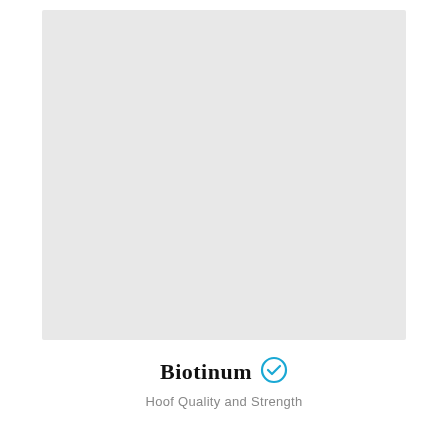[Figure (photo): Large light gray placeholder image area occupying the upper portion of the page]
Biotinum
Hoof Quality and Strength